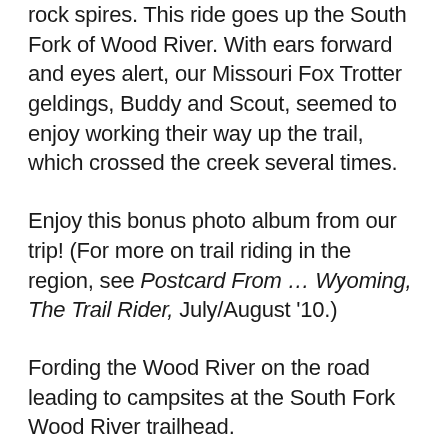rock spires. This ride goes up the South Fork of Wood River. With ears forward and eyes alert, our Missouri Fox Trotter geldings, Buddy and Scout, seemed to enjoy working their way up the trail, which crossed the creek several times.
Enjoy this bonus photo album from our trip! (For more on trail riding in the region, see Postcard From … Wyoming, The Trail Rider, July/August '10.)
Fording the Wood River on the road leading to campsites at the South Fork Wood River trailhead.
Kent and Charlene Krone, and their horses Buddy (right) and Scout enjoy a morning at camp at the South Fork Wood River trailhead.